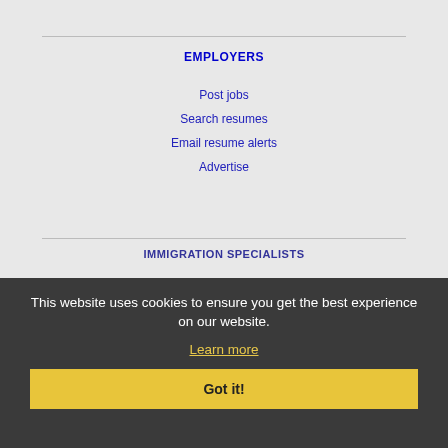EMPLOYERS
Post jobs
Search resumes
Email resume alerts
Advertise
IMMIGRATION SPECIALISTS
Post jobs
Immigration FAQs
Learn more
This website uses cookies to ensure you get the best experience on our website.
Learn more
Got it!
MORE
FAQ
Contact us